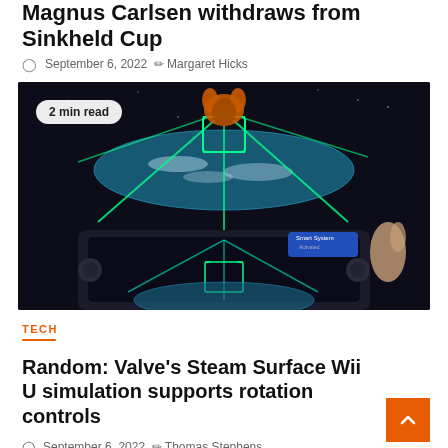Magnus Carlsen withdraws from Sinkheld Cup
September 6, 2022   Margaret Hicks
[Figure (photo): A gaming device (likely Steam Deck) being held up in front of a monitor, both displaying a space-themed video game with green neon lines and an Earth view. A '2 min read' badge is overlaid on the image.]
TECH
Random: Valve's Steam Surface Wii U simulation supports rotation controls
September 6, 2022   Thomas Stephens